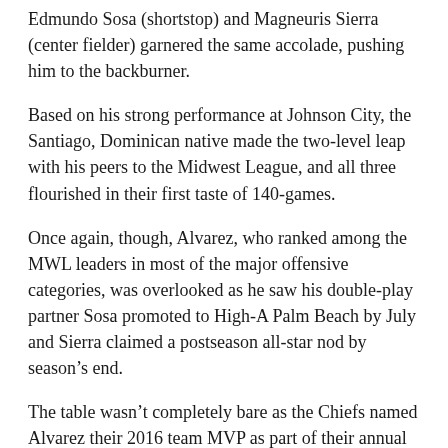Edmundo Sosa (shortstop) and Magneuris Sierra (center fielder) garnered the same accolade, pushing him to the backburner.
Based on his strong performance at Johnson City, the Santiago, Dominican native made the two-level leap with his peers to the Midwest League, and all three flourished in their first taste of 140-games.
Once again, though, Alvarez, who ranked among the MWL leaders in most of the major offensive categories, was overlooked as he saw his double-play partner Sosa promoted to High-A Palm Beach by July and Sierra claimed a postseason all-star nod by season's end.
The table wasn't completely bare as the Chiefs named Alvarez their 2016 team MVP as part of their annual internal team awards in an on field ceremony in September.